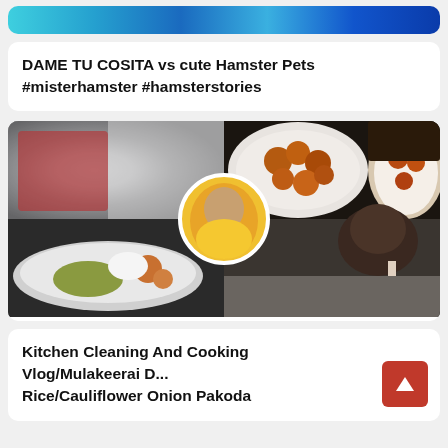[Figure (screenshot): Partial top of a video thumbnail showing colorful animation with blue and teal tones]
DAME TU COSITA vs cute Hamster Pets #misterhamster #hamsterstories
[Figure (photo): Cooking vlog thumbnail showing a woman in a kitchen, Indian food dishes including fried cauliflower and rice, and a man eating]
Kitchen Cleaning And Cooking Vlog/Mulakeerai D... Rice/Cauliflower Onion Pakoda